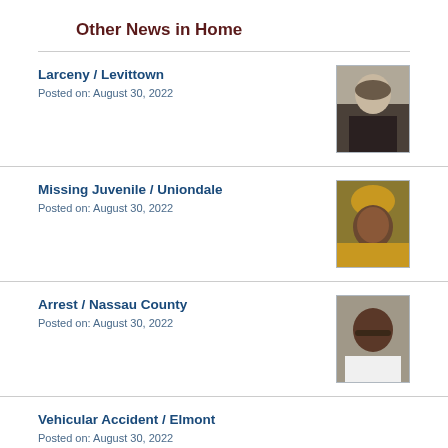Other News in Home
Larceny / Levittown
Posted on: August 30, 2022
[Figure (photo): Mugshot of a bald/balding middle-aged white male in a dark shirt]
Missing Juvenile / Uniondale
Posted on: August 30, 2022
[Figure (photo): Photo of a young Black female wearing a yellow head wrap]
Arrest / Nassau County
Posted on: August 30, 2022
[Figure (photo): Mugshot of a young Black male wearing glasses and a white shirt]
Vehicular Accident / Elmont
Posted on: August 30, 2022